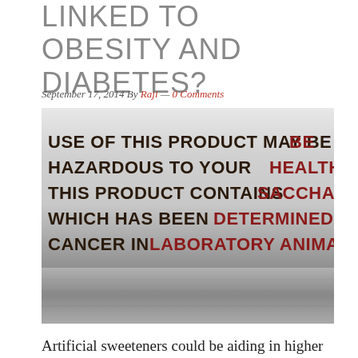LINKED TO OBESITY AND DIABETES?
September 17, 2014 By Raji — 0 Comments
[Figure (photo): Close-up photograph of a metallic can/container with a warning label printed in dark brown and red text reading: 'USE OF THIS PRODUCT MAY BE HAZARDOUS TO YOUR HEALTH. THIS PRODUCT CONTAINS SACCHARIN WHICH HAS BEEN DETERMINED TO CAUSE CANCER IN LABORATORY ANIMALS.']
Artificial sweeteners could be aiding in higher blood sugar levels based on the article published Wednesday in the journal Nature. Researchers are